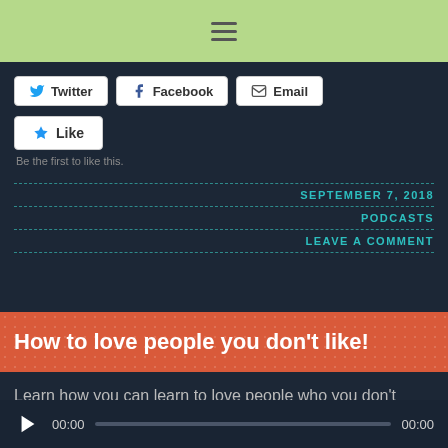[Figure (screenshot): Green top navigation bar with hamburger menu icon]
[Figure (screenshot): Social share buttons: Twitter, Facebook, Email]
[Figure (screenshot): Like button with star icon]
Be the first to like this.
SEPTEMBER 7, 2018
PODCASTS
LEAVE A COMMENT
How to love people you don't like!
Learn how you can learn to love people who you don't actually like!
[Figure (screenshot): Audio player with play button, 00:00 timestamps and progress bar]